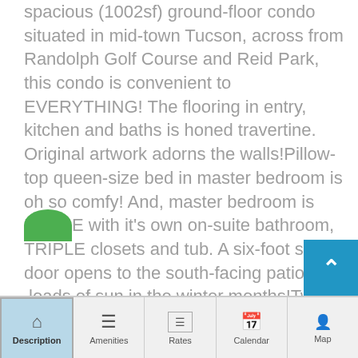spacious (1002sf) ground-floor condo situated in mid-town Tucson, across from Randolph Golf Course and Reid Park, this condo is convenient to EVERYTHING! The flooring in entry, kitchen and baths is honed travertine. Original artwork adorns the walls!Pillow-top queen-size bed in master bedroom is oh so comfy! And, master bedroom is LARGE with it's own on-suite bathroom, TRIPLE closets and tub. A six-foot sliding door opens to the south-facing patio - loads of sun in the winter months!Twin beds in 2nd bedroom have comfortable 'toppers.' 2nd bedroom has it's own on-suite, newly remodeled bath with walk-in shower. There's plenty of dresser/closet space for clothes.Living room has retro-style furnishings and practical, comfortable ........ Read More ⊕
Description | Amenities | Rates | Calendar | Map